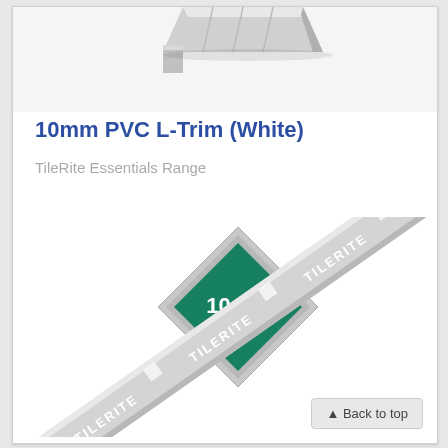[Figure (photo): Partial view of a chrome/silver L-trim product piece, cropped at the top of the page]
10mm PVC L-Trim (White)
TileRite Essentials Range
[Figure (photo): 10mm size badge (green diamond shape with '10mm' text in white) next to a white PVC L-trim strip with TileRite branding visible diagonally across the page]